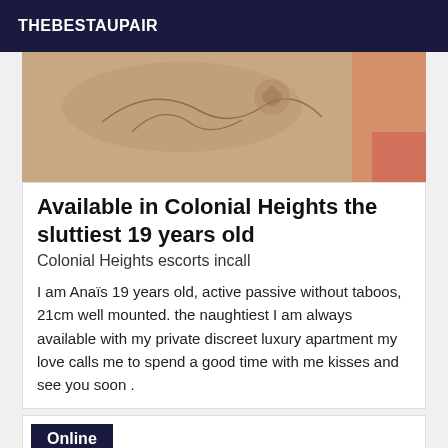THEBESTAUPAIR
[Figure (photo): Close-up photo of skin with tattoos including cursive text and butterfly designs]
Available in Colonial Heights the sluttiest 19 years old
Colonial Heights escorts incall
I am Anaïs 19 years old, active passive without taboos, 21cm well mounted. the naughtiest I am always available with my private discreet luxury apartment my love calls me to spend a good time with me kisses and see you soon .
Online